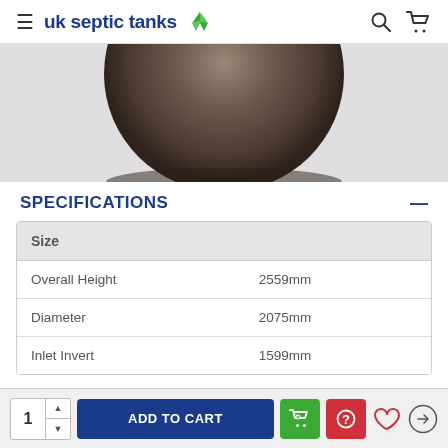uk septic tanks
[Figure (photo): Bottom portion of a large spherical brown septic tank against a light grey background]
SPECIFICATIONS
| Size |  |
| --- | --- |
| Overall Height | 2559mm |
| Diameter | 2075mm |
| Inlet Invert | 1599mm |